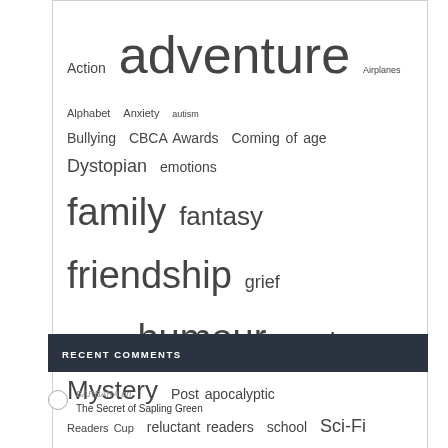[Figure (infographic): Tag cloud containing terms: Action, adventure, Airplanes, Alphabet, Anxiety, autism, Bullying, CBCA Awards, Coming of age, Dystopian, emotions, family, fantasy, friendship, grief, Historical, humour, magic, Mystery, Post apocalyptic, Readers Cup, reluctant readers, school, Sci-Fi, series of books, siblings, Sport, Starting school, Teacher Notes — in varying font sizes indicating frequency]
RECENT COMMENTS
BARBARA on The Secret of Sapling Green